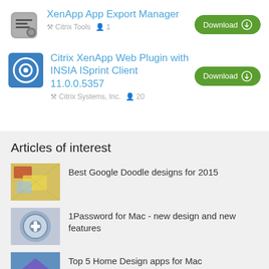XenApp App Export Manager
Citrix Tools  1
Download
Citrix XenApp Web Plugin with INSIA ISprint Client 11.0.0.5357
Citrix Systems, Inc.  20
Download
Articles of interest
Best Google Doodle designs for 2015
1Password for Mac - new design and new features
Top 5 Home Design apps for Mac